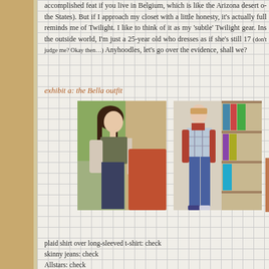accomplished feat if you live in Belgium, which is like the Arizona desert of the States). But if I approach my closet with a little honesty, it's actually full of things that reminds me of Twilight. I like to think of it as my 'subtle' Twilight gear. Insofar as the outside world, I'm just a 25-year old who dresses as if she's still 17 (don't judge me? Okay then…) Anyhoodles, let's go over the evidence, shall we?
exhibit a: the Bella outfit
[Figure (photo): Photo of actress playing Bella from Twilight wearing a plaid shirt over a long-sleeved shirt, skinny jeans, standing next to a truck]
[Figure (photo): Photo of blogger wearing a plaid shirt over a long-sleeved rust-colored t-shirt, skinny jeans, Allstars, standing in a room with bookshelves]
[Figure (photo): Close-up photo of a hand wearing a moonstone ring on the index finger]
plaid shirt over long-sleeved t-shirt: check
skinny jeans: check
Allstars: check
moonstone ring worn on index finger (oh yeah, I went there): check
And now you also know why I got stuck with my ridiculous screen n